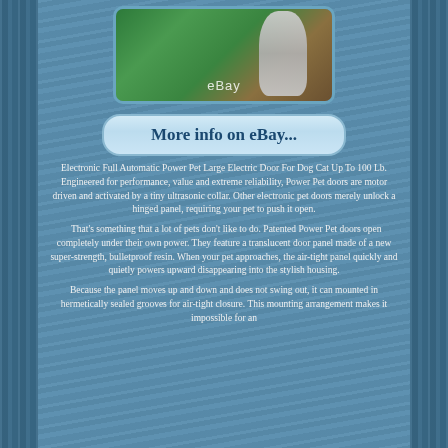[Figure (photo): Dog jumping through a pet door opening in a wall, green background, eBay watermark]
More info on eBay...
Electronic Full Automatic Power Pet Large Electric Door For Dog Cat Up To 100 Lb. Engineered for performance, value and extreme reliability, Power Pet doors are motor driven and activated by a tiny ultrasonic collar. Other electronic pet doors merely unlock a hinged panel, requiring your pet to push it open.
That's something that a lot of pets don't like to do. Patented Power Pet doors open completely under their own power. They feature a translucent door panel made of a new super-strength, bulletproof resin. When your pet approaches, the air-tight panel quickly and quietly powers upward disappearing into the stylish housing.
Because the panel moves up and down and does not swing out, it can mounted in hermetically sealed grooves for air-tight closure. This mounting arrangement makes it impossible for an